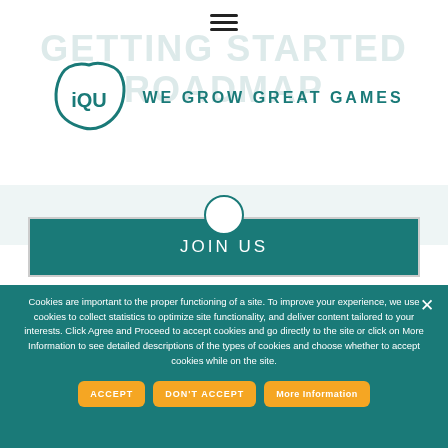[Figure (logo): iQU logo with tagline WE GROW GREAT GAMES in teal color]
GETTING STARTED ROADMAP (watermark/background text)
JOIN US
Cookies are important to the proper functioning of a site. To improve your experience, we use cookies to collect statistics to optimize site functionality, and deliver content tailored to your interests. Click Agree and Proceed to accept cookies and go directly to the site or click on More Information to see detailed descriptions of the types of cookies and choose whether to accept cookies while on the site.
ACCEPT
DON'T ACCEPT
More Information